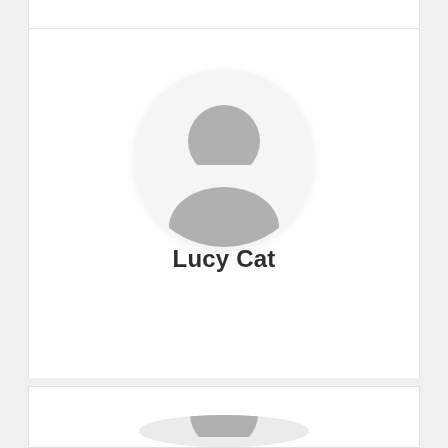[Figure (illustration): Default user avatar icon — grey silhouette of a person (head and shoulders) inside a light grey circle]
Lucy Cat
[Figure (illustration): Second default user avatar icon — grey silhouette of a person (head and shoulders) inside a light grey circle, partially visible at bottom of page]